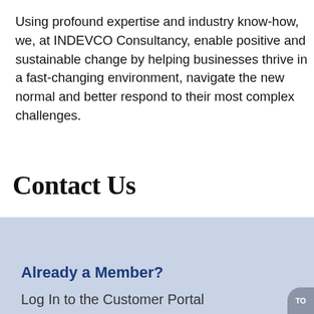Using profound expertise and industry know-how, we, at INDEVCO Consultancy, enable positive and sustainable change by helping businesses thrive in a fast-changing environment, navigate the new normal and better respond to their most complex challenges.
Contact Us
Already a Member?
Log In to the Customer Portal